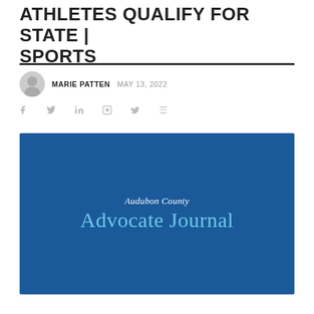ATHLETES QUALIFY FOR STATE | SPORTS
MARIE PATTEN  MAY 13, 2022
[Figure (logo): Audubon County Advocate Journal logo on dark blue background]